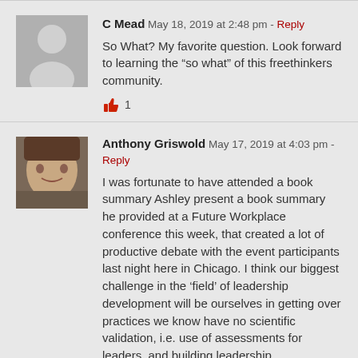C Mead  May 18, 2019 at 2:48 pm - Reply
So What? My favorite question. Look forward to learning the “so what” of this freethinkers community.
👍 1
Anthony Griswold  May 17, 2019 at 4:03 pm - Reply
I was fortunate to have attended a book summary Ashley present a book summary he provided at a Future Workplace conference this week, that created a lot of productive debate with the event participants last night here in Chicago. I think our biggest challenge in the ‘field’ of leadership development will be ourselves in getting over practices we know have no scientific validation, i.e. use of assessments for leaders, and building leadership development programs on long lists of competencies certain leaders think are important for their organizations. I think the group